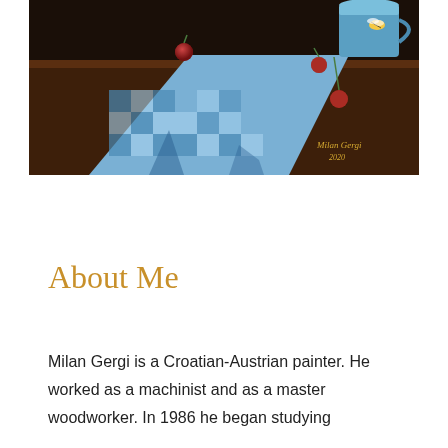[Figure (illustration): A still life oil painting by Milan Gergi (2020) showing a blue and white checkered cloth draped on a dark wooden surface, with red cherries, and a blue mug in the upper right corner. A small bee is visible in the upper right area. The artist's signature 'Milan Gergi 2020' is written in gold in the lower right of the painting.]
About Me
Milan Gergi is a Croatian-Austrian painter. He worked as a machinist and as a master woodworker. In 1986 he began studying